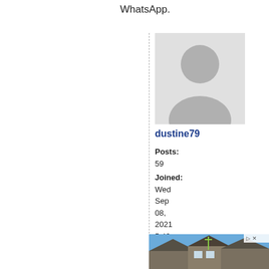WhatsApp.
[Figure (photo): Default avatar/silhouette placeholder image showing a generic person outline]
dustine79
Posts:
59
Joined:
Wed Sep 08, 2021 5:46 am
E-mail dustine79
[Figure (photo): Advertisement photo showing suburban houses with workers on scaffolding]